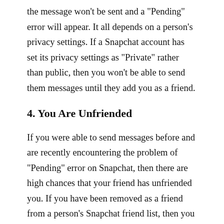the message won't be sent and a “Pending” error will appear. It all depends on a person’s privacy settings. If a Snapchat account has set its privacy settings as “Private” rather than public, then you won’t be able to send them messages until they add you as a friend.
4. You Are Unfriended
If you were able to send messages before and are recently encountering the problem of “Pending” error on Snapchat, then there are high chances that your friend has unfriended you. If you have been removed as a friend from a person’s Snapchat friend list, then you won’t be able to send them messages or streaks until they add you back. Unless you are added back as a friend, all the message…